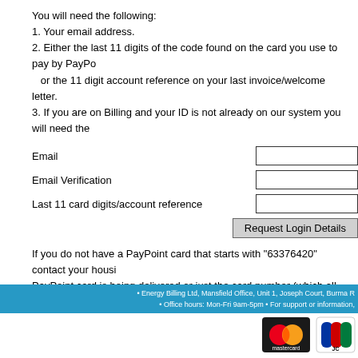You will need the following:
1. Your email address.
2. Either the last 11 digits of the code found on the card you use to pay by PayPoint or the 11 digit account reference on your last invoice/welcome letter.
3. If you are on Billing and your ID is not already on our system you will need the
Email
Email Verification
Last 11 card digits/account reference
Request Login Details
If you do not have a PayPoint card that starts with "63376420" contact your housing PayPoint card is being delivered or just the card number (which all PayPoint oper Both the temporary card and the PayPoint card show the 11 digits you require.
Please check that the email you provide is correct and be sure to check your junk Note that your email is used to generate an ID. Your actual email is not stored an
For security, passwords are randomly set by the server and cannot be changed.
Finally, if you are still having trouble logging into the site, clearing your browser "c
• Energy Billing Ltd, Mansfield Office, Unit 1, Joseph Court, Burma R • Office hours: Mon-Fri 9am-5pm • For support or information,